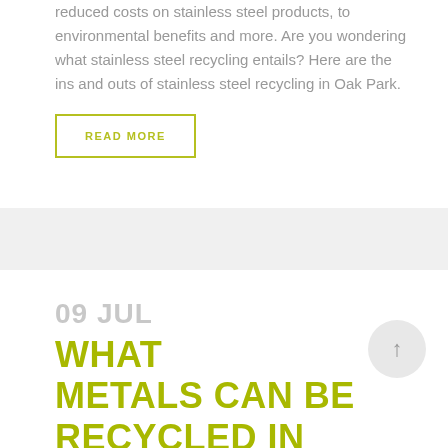reduced costs on stainless steel products, to environmental benefits and more. Are you wondering what stainless steel recycling entails? Here are the ins and outs of stainless steel recycling in Oak Park.
READ MORE
09 JUL WHAT METALS CAN BE RECYCLED IN WESTERN SPRINGS,